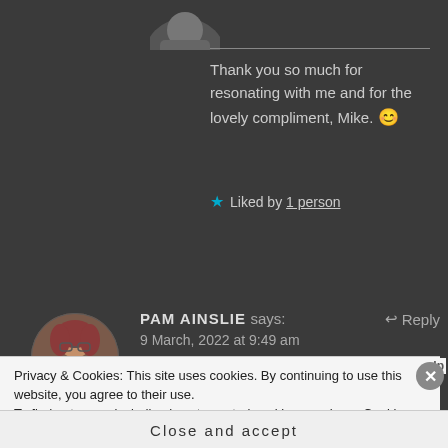[Figure (photo): Partially cropped circular avatar image of a person at the top of the page]
Thank you so much for resonating with me and for the lovely compliment, Mike. 😊
★ Liked by 1 person
[Figure (photo): Circular avatar photo of Pam Ainslie, a woman with glasses and curly reddish hair]
PAM AINSLIE says: 9 March, 2022 at 9:49 am
Reblogged this on
Privacy & Cookies: This site uses cookies. By continuing to use this website, you agree to their use.
To find out more, including how to control cookies, see here: Cookie Policy
Close and accept